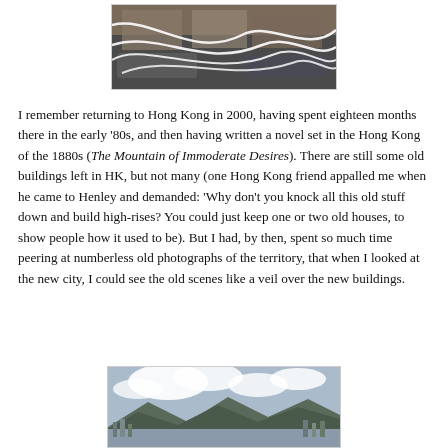[Figure (photo): Street scene photo at top of page, partially cropped, showing storefronts and vehicles with white curved lines overlaid]
I remember returning to Hong Kong in 2000, having spent eighteen months there in the early '80s, and then having written a novel set in the Hong Kong of the 1880s (The Mountain of Immoderate Desires). There are still some old buildings left in HK, but not many (one Hong Kong friend appalled me when he came to Henley and demanded: 'Why don't you knock all this old stuff down and build high-rises? You could just keep one or two old houses, to show people how it used to be). But I had, by then, spent so much time peering at numberless old photographs of the territory, that when I looked at the new city, I could see the old scenes like a veil over the new buildings.
[Figure (photo): Panoramic photo of Hong Kong harbor with mountains in the background and city skyline, partially visible at bottom of page]